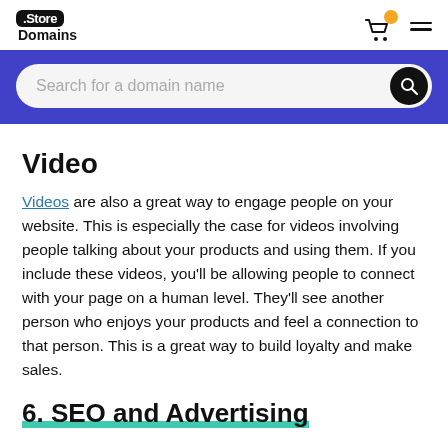.Store Domains
[Figure (logo): Store Domains logo with black badge and text, shopping cart icon with orange dot, and hamburger menu]
[Figure (screenshot): Blue search bar with placeholder text 'Search for a domain name' and a black search button]
Video
Videos are also a great way to engage people on your website. This is especially the case for videos involving people talking about your products and using them. If you include these videos, you'll be allowing people to connect with your page on a human level. They'll see another person who enjoys your products and feel a connection to that person. This is a great way to build loyalty and make sales.
6. SEO and Advertising